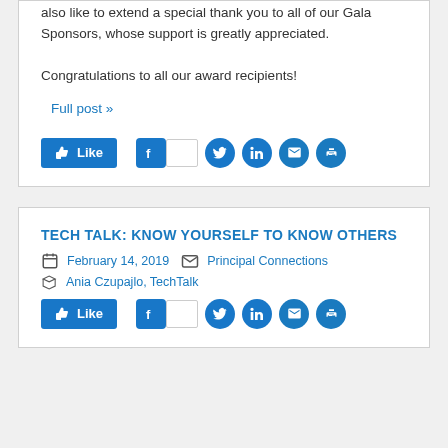also like to extend a special thank you to all of our Gala Sponsors, whose support is greatly appreciated.

Congratulations to all our award recipients!
Full post »
[Figure (other): Like button and social share icons (Facebook, Twitter, LinkedIn, Email, Print) for first post]
TECH TALK: KNOW YOURSELF TO KNOW OTHERS
February 14, 2019   Principal Connections   Ania Czupajlo, TechTalk
[Figure (other): Like button and social share icons (Facebook, Twitter, LinkedIn, Email, Print) for second post]